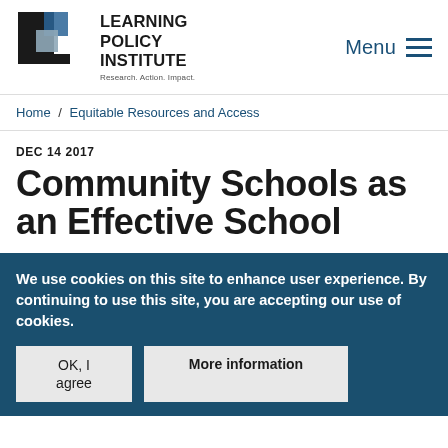[Figure (logo): Learning Policy Institute logo with geometric L-shaped black and blue/grey squares graphic, followed by text 'LEARNING POLICY INSTITUTE Research. Action. Impact.']
Menu
Home / Equitable Resources and Access
DEC 14 2017
Community Schools as an Effective School
We use cookies on this site to enhance user experience. By continuing to use this site, you are accepting our use of cookies.
OK, I agree
More information